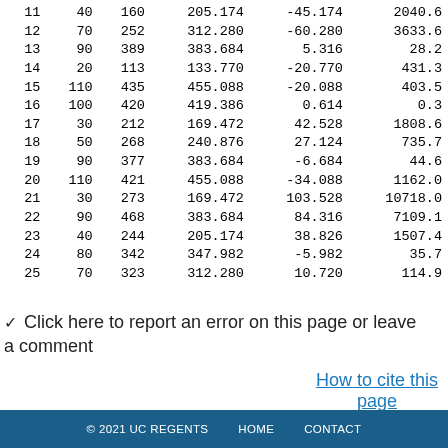|  |  |  |  |  |  |
| --- | --- | --- | --- | --- | --- |
| 11 | 40 | 160 | 205.174 | -45.174 | 2040.6… |
| 12 | 70 | 252 | 312.280 | -60.280 | 3633.6… |
| 13 | 90 | 389 | 383.684 | 5.316 | 28.2… |
| 14 | 20 | 113 | 133.770 | -20.770 | 431.3… |
| 15 | 110 | 435 | 455.088 | -20.088 | 403.5… |
| 16 | 100 | 420 | 419.386 | 0.614 | 0.3… |
| 17 | 30 | 212 | 169.472 | 42.528 | 1808.6… |
| 18 | 50 | 268 | 240.876 | 27.124 | 735.7… |
| 19 | 90 | 377 | 383.684 | -6.684 | 44.6… |
| 20 | 110 | 421 | 455.088 | -34.088 | 1162.0… |
| 21 | 30 | 273 | 169.472 | 103.528 | 10718.0… |
| 22 | 90 | 468 | 383.684 | 84.316 | 7109.1… |
| 23 | 40 | 244 | 205.174 | 38.826 | 1507.4… |
| 24 | 80 | 342 | 347.982 | -5.982 | 35.7… |
| 25 | 70 | 323 | 312.280 | 10.720 | 114.9… |
Click here to report an error on this page or leave a comment
How to cite this page
© 2021 UC REGENTS   HOME   CONTACT